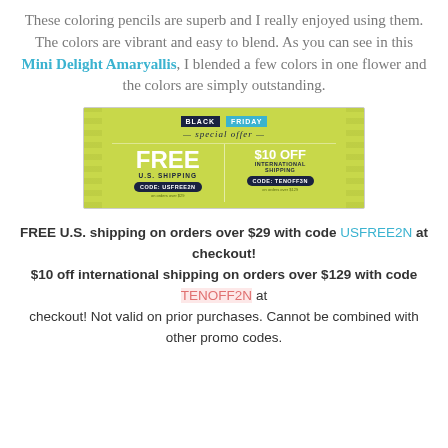These coloring pencils are superb and I really enjoyed using them. The colors are vibrant and easy to blend. As you can see in this Mini Delight Amaryallis, I blended a few colors in one flower and the colors are simply outstanding.
[Figure (infographic): Black Friday Special Offer banner with lime-green background. Left side: FREE U.S. SHIPPING with code USFREE2N. Right side: $10 OFF INTERNATIONAL SHIPPING with code TENOFF3N.]
FREE U.S. shipping on orders over $29 with code USFREE2N at checkout! $10 off international shipping on orders over $129 with code TENOFF2N at checkout! Not valid on prior purchases. Cannot be combined with other promo codes.